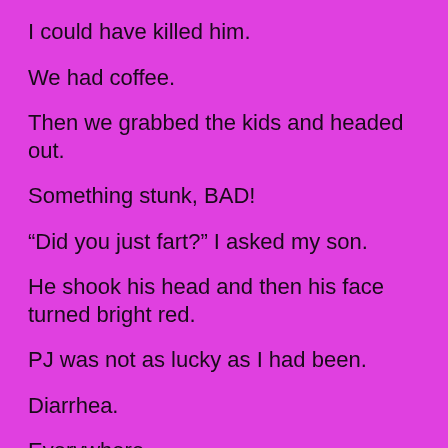I could have killed him.
We had coffee.
Then we grabbed the kids and headed out.
Something stunk, BAD!
“Did you just fart?” I asked my son.
He shook his head and then his face turned bright red.
PJ was not as lucky as I had been.
Diarrhea.
Everywhere